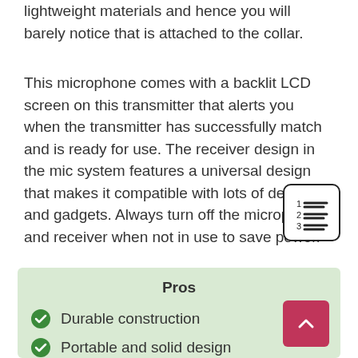lightweight materials and hence you will barely notice that is attached to the collar.
This microphone comes with a backlit LCD screen on this transmitter that alerts you when the transmitter has successfully match and is ready for use. The receiver design in the mic system features a universal design that makes it compatible with lots of devices and gadgets. Always turn off the microphone and receiver when not in use to save power.
[Figure (other): Table of contents / numbered list icon — a rounded-rectangle icon showing numbers 1, 2, 3 with horizontal lines next to each]
Pros
Durable construction
Portable and solid design